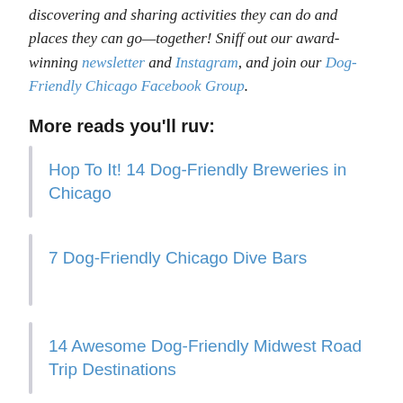discovering and sharing activities they can do and places they can go—together! Sniff out our award-winning newsletter and Instagram, and join our Dog-Friendly Chicago Facebook Group.
More reads you'll ruv:
Hop To It! 14 Dog-Friendly Breweries in Chicago
7 Dog-Friendly Chicago Dive Bars
14 Awesome Dog-Friendly Midwest Road Trip Destinations